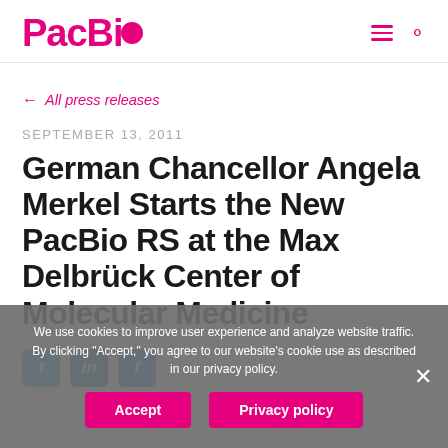PacBio
← All press releases
SEPTEMBER 13, 2011
German Chancellor Angela Merkel Starts the New PacBio RS at the Max Delbrück Center of Molecular Medicine
We use cookies to improve user experience and analyze website traffic. By clicking "Accept," you agree to our website's cookie use as described in our privacy policy.